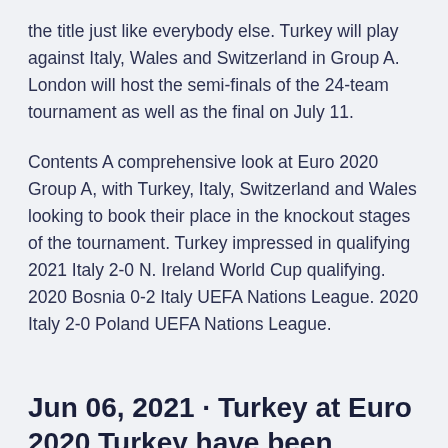the title just like everybody else. Turkey will play against Italy, Wales and Switzerland in Group A. London will host the semi-finals of the 24-team tournament as well as the final on July 11.
Contents A comprehensive look at Euro 2020 Group A, with Turkey, Italy, Switzerland and Wales looking to book their place in the knockout stages of the tournament. Turkey impressed in qualifying 2021 Italy 2-0 N. Ireland World Cup qualifying. 2020 Bosnia 0-2 Italy UEFA Nations League. 2020 Italy 2-0 Poland UEFA Nations League.
Jun 06, 2021 · Turkey at Euro 2020 Turkey have been working hard to try and swing the Switzerland vs